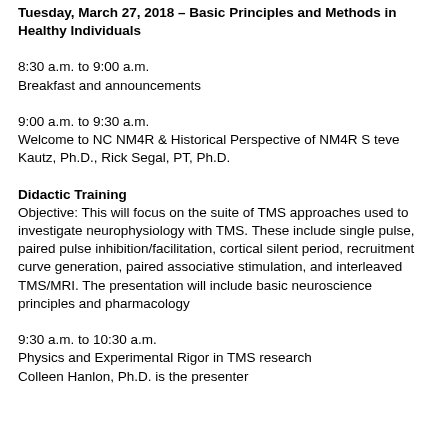Tuesday, March 27, 2018 – Basic Principles and Methods in Healthy Individuals
8:30 a.m. to 9:00 a.m.
Breakfast and announcements
9:00 a.m. to 9:30 a.m.
Welcome to NC NM4R & Historical Perspective of NM4R Steve Kautz, Ph.D., Rick Segal, PT, Ph.D.
Didactic Training
Objective: This will focus on the suite of TMS approaches used to investigate neurophysiology with TMS. These include single pulse, paired pulse inhibition/facilitation, cortical silent period, recruitment curve generation, paired associative stimulation, and interleaved TMS/MRI. The presentation will include basic neuroscience principles and pharmacology
9:30 a.m. to 10:30 a.m.
Physics and Experimental Rigor in TMS research
Colleen Hanlon, Ph.D. is the presenter